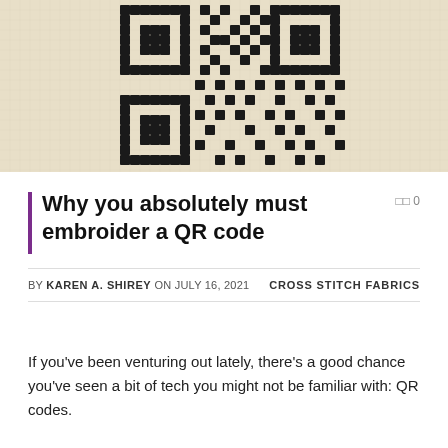[Figure (photo): Close-up photograph of a cross-stitch embroidery of a QR code on beige/cream fabric, with black stitched squares forming the QR code pattern.]
Why you absolutely must embroider a QR code
0
BY KAREN A. SHIREY ON JULY 16, 2021   CROSS STITCH FABRICS
If you've been venturing out lately, there's a good chance you've seen a bit of tech you might not be familiar with: QR codes.